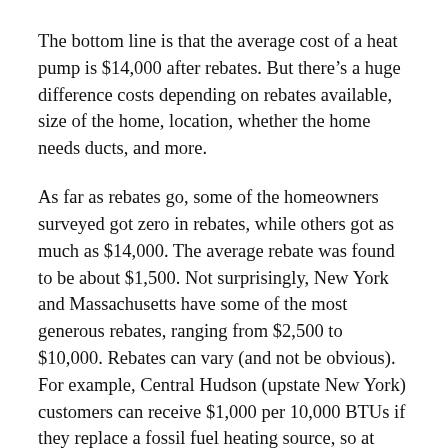The bottom line is that the average cost of a heat pump is $14,000 after rebates. But there's a huge difference costs depending on rebates available, size of the home, location, whether the home needs ducts, and more.
As far as rebates go, some of the homeowners surveyed got zero in rebates, while others got as much as $14,000. The average rebate was found to be about $1,500. Not surprisingly, New York and Massachusetts have some of the most generous rebates, ranging from $2,500 to $10,000. Rebates can vary (and not be obvious). For example, Central Hudson (upstate New York) customers can receive $1,000 per 10,000 BTUs if they replace a fossil fuel heating source, so at least $3,000 for a typical 3-ton system. The DSIRE database is a good place to start.
The survey found that home size directly correlates to